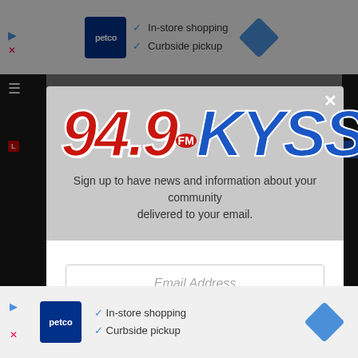[Figure (screenshot): Top Petco advertisement banner with logo, checkmarks for In-store shopping and Curbside pickup, and navigation icon]
[Figure (logo): 94.9 KYSS FM radio station logo in red and blue stylized text]
Sign up to have news and information about your community delivered to your email.
Email Address
Like Us On Facebook
[Figure (screenshot): Bottom Petco advertisement banner with logo, checkmarks for In-store shopping and Curbside pickup, and navigation icon]